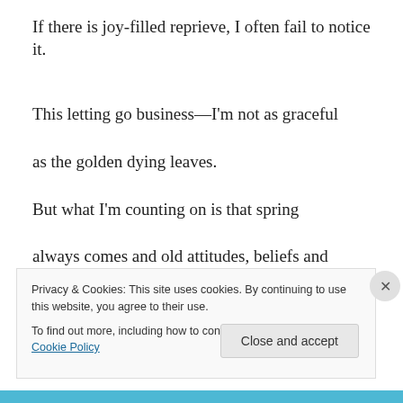If there is joy-filled reprieve, I often fail to notice it.
This letting go business—I'm not as graceful
as the golden dying leaves.
But what I'm counting on is that spring
always comes and old attitudes, beliefs and judgments
about how life is supposed to be
Privacy & Cookies: This site uses cookies. By continuing to use this website, you agree to their use.
To find out more, including how to control cookies, see here: Cookie Policy